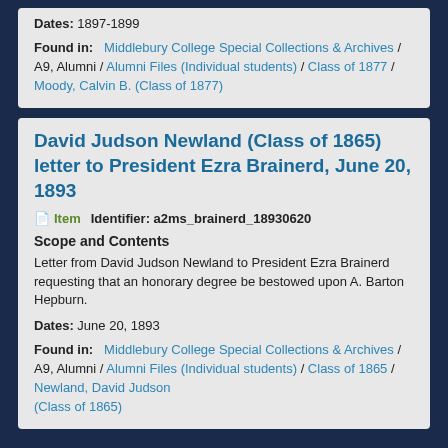Dates: 1897-1899
Found in: Middlebury College Special Collections & Archives / A9, Alumni / Alumni Files (Individual students) / Class of 1877 / Moody, Calvin B. (Class of 1877)
David Judson Newland (Class of 1865) letter to President Ezra Brainerd, June 20, 1893
Item  Identifier: a2ms_brainerd_18930620
Scope and Contents
Letter from David Judson Newland to President Ezra Brainerd requesting that an honorary degree be bestowed upon A. Barton Hepburn.
Dates: June 20, 1893
Found in: Middlebury College Special Collections & Archives / A9, Alumni / Alumni Files (Individual students) / Class of 1865 / Newland, David Judson (Class of 1865)